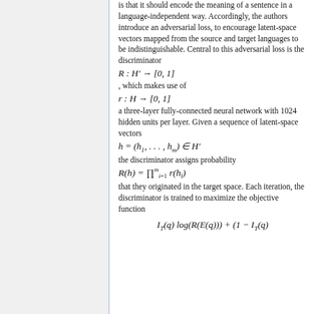is that it should encode the meaning of a sentence in a language-independent way. Accordingly, the authors introduce an adversarial loss, to encourage latent-space vectors mapped from the source and target languages to be indistinguishable. Central to this adversarial loss is the discriminator R : H′ → [0, 1], which makes use of r : H → [0, 1] a three-layer fully-connected neural network with 1024 hidden units per layer. Given a sequence of latent-space vectors h = (h₁, …, hₘ) ∈ H′ the discriminator assigns probability R(h) = ∏ᵢ₌₁ᵐ r(hᵢ) that they originated in the target space. Each iteration, the discriminator is trained to maximize the objective function I_T(q) log(R(E(q))) + (1 − I_T(q))